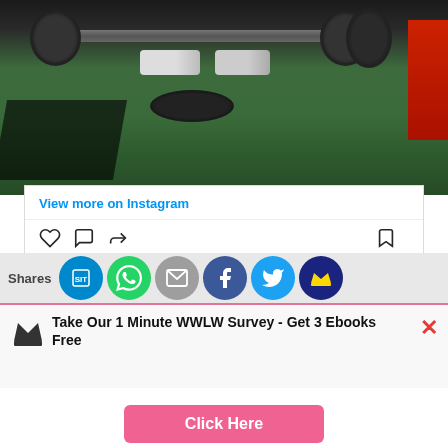[Figure (photo): Gym photo showing barbells with weight plates on green rubber flooring, red wall in background, person's shoes visible]
View more on Instagram
24 likes
Add a comment...
Shares
Take Our 1 Minute WWLW Survey - Get 3 Ebooks Free
Click Here